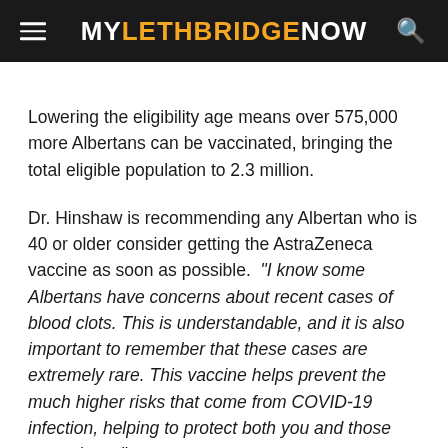MY LETHBRIDGE NOW
Lowering the eligibility age means over 575,000 more Albertans can be vaccinated, bringing the total eligible population to 2.3 million.
Dr. Hinshaw is recommending any Albertan who is 40 or older consider getting the AstraZeneca vaccine as soon as possible. “I know some Albertans have concerns about recent cases of blood clots. This is understandable, and it is also important to remember that these cases are extremely rare. This vaccine helps prevent the much higher risks that come from COVID-19 infection, helping to protect both you and those around you.”
People eligible for a COVID-19 vaccine can book